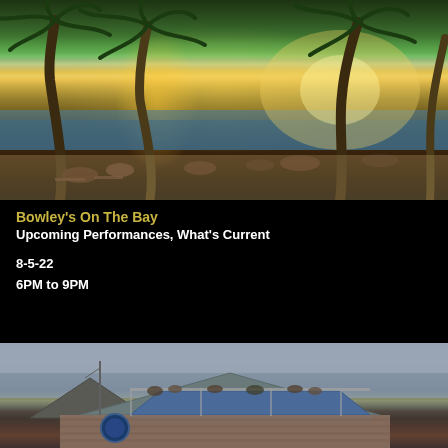[Figure (photo): Outdoor waterfront restaurant dining scene at sunset with palm trees, people seated at tables, water and boats in background, golden sky]
Bowley's On The Bay
Upcoming Performances, What's Current
8-5-22
6PM to 9PM
[Figure (photo): Exterior photo of a waterfront bar/restaurant building with blue metal awning, wooden siding, people visible on upper deck, overcast sky]